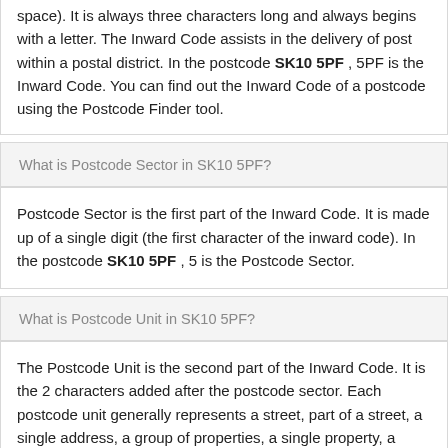space). It is always three characters long and always begins with a letter. The Inward Code assists in the delivery of post within a postal district. In the postcode SK10 5PF , 5PF is the Inward Code. You can find out the Inward Code of a postcode using the Postcode Finder tool.
What is Postcode Sector in SK10 5PF?
Postcode Sector is the first part of the Inward Code. It is made up of a single digit (the first character of the inward code). In the postcode SK10 5PF , 5 is the Postcode Sector.
What is Postcode Unit in SK10 5PF?
The Postcode Unit is the second part of the Inward Code. It is the 2 characters added after the postcode sector. Each postcode unit generally represents a street, part of a street, a single address, a group of properties, a single property, a